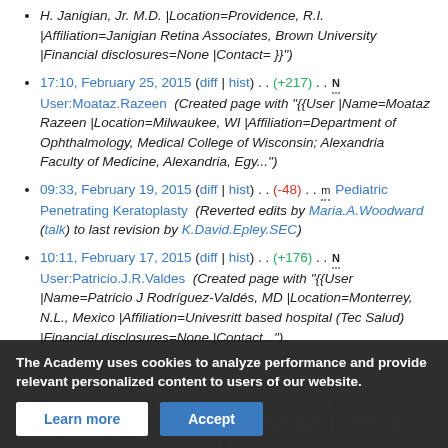H. Janigian, Jr. M.D. |Location=Providence, R.I. |Affiliation=Janigian Retina Associates, Brown University |Financial disclosures=None |Contact= }}")
17:10, February 25, 2015 (diff | hist) . . (+217) . . N User:Moataz.Razeen (Created page with "{{User |Name=Moataz Razeen |Location=Milwaukee, WI |Affiliation=Department of Ophthalmology, Medical College of Wisconsin; Alexandria Faculty of Medicine, Alexandria, Egy...")
09:33, February 19, 2015 (diff | hist) . . (-48) . . m Pediatric Penetrating Keratoplasty (Reverted edits by Maria.A.Woodward (talk) to last revision by K.David.Epley.SEC)
10:11, February 17, 2015 (diff | hist) . . (+176) . . N User:Patricio.J.R.Valdes (Created page with "{{User |Name=Patricio J Rodríguez-Valdés, MD |Location=Monterrey, N.L., Mexico |Affiliation=Univesritt based hospital (Tec Salud) |Financial disclosures=None |Contact...")
14:59, February 16, 2015 (diff | hist) . . (+279) . . N User:AnniewardsHinds (Created page with "{{User |Name=Anne-Marie Monique Hinds, Bachelor of Medical Sciences, MBBS, FRCOphth |Location=(current) London, UK (fellowship) |Affiliation=Queen E...")
The Academy uses cookies to analyze performance and provide relevant personalized content to users of our website.
Learn more | Accept